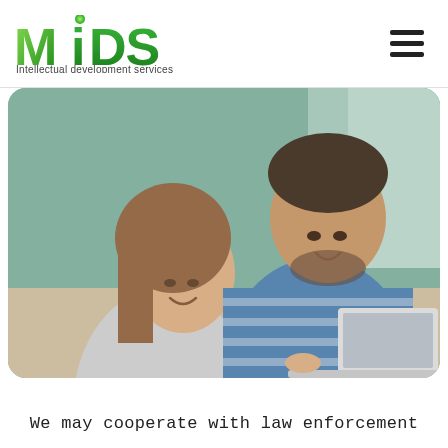MIDS Intellectual development services
[Figure (photo): A smiling couple looking at a laptop computer together. A woman with long brown hair rests her chin on her hand while a man with a beard leans over her shoulder. They appear happy and engaged with the screen. The background shows a bright indoor setting.]
We may cooperate with law enforcement